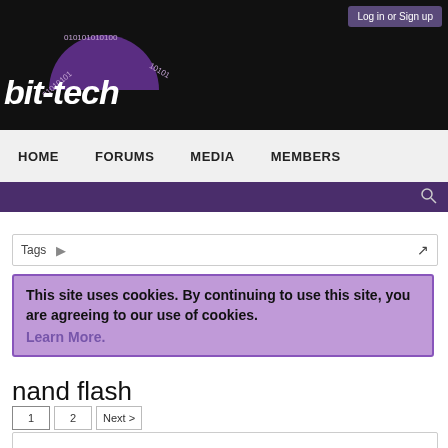bit-tech
Log in or Sign up
HOME  FORUMS  MEDIA  MEMBERS
Tags
This site uses cookies. By continuing to use this site, you are agreeing to our use of cookies. Learn More.
nand flash
1  2  Next >